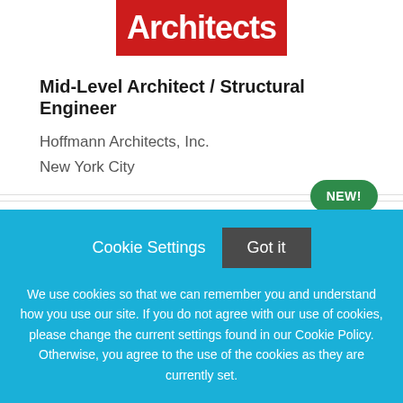[Figure (logo): Architects logo — white bold text on red background rectangle]
Mid-Level Architect / Structural Engineer
Hoffmann Architects, Inc.
New York City
[Figure (other): Green pill-shaped badge with white text: NEW!]
Cookie Settings   Got it
We use cookies so that we can remember you and understand how you use our site. If you do not agree with our use of cookies, please change the current settings found in our Cookie Policy. Otherwise, you agree to the use of the cookies as they are currently set.